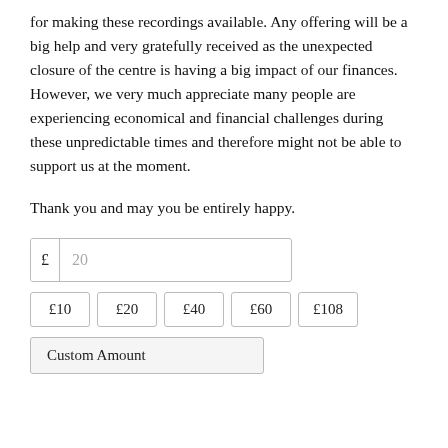for making these recordings available. Any offering will be a big help and very gratefully received as the unexpected closure of the centre is having a big impact of our finances. However, we very much appreciate many people are experiencing economical and financial challenges during these unpredictable times and therefore might not be able to support us at the moment.
Thank you and may you be entirely happy.
£  20
£10  £20  £40  £60  £108
Custom Amount